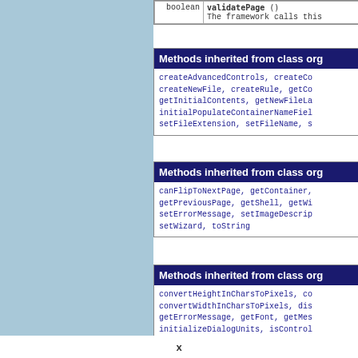| Type | Description |
| --- | --- |
| boolean | validatePage ()
The framework calls this |
Methods inherited from class org
createAdvancedControls, createCo
createNewFile, createRule, getCo
getInitialContents, getNewFileLa
initialPopulateContainerNameFiel
setFileExtension, setFileName, s
Methods inherited from class org
canFlipToNextPage, getContainer,
getPreviousPage, getShell, getWi
setErrorMessage, setImageDescrip
setWizard, toString
Methods inherited from class org
convertHeightInCharsToPixels, co
convertWidthInCharsToPixels, dis
getErrorMessage, getFont, getMes
initializeDialogUnits, isControl
x